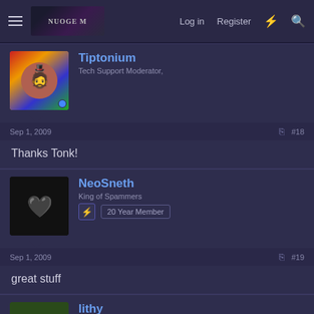Log in  Register
Tiptonium
Tech Support Moderator,
Sep 1, 2009  #18
Thanks Tonk!
NeoSneth
King of Spammers  20 Year Member
Sep 1, 2009  #19
great stuff
lithy
hønefuld  20 Year Member
Sep 1, 2009  #20